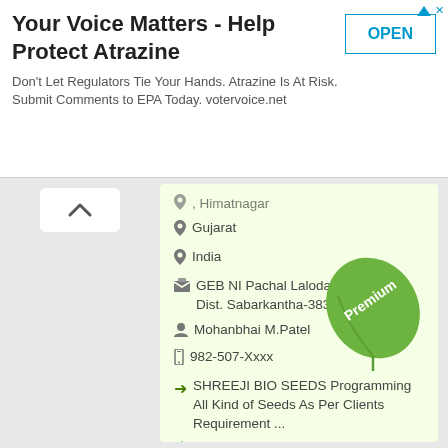[Figure (screenshot): Advertisement banner: 'Your Voice Matters - Help Protect Atrazine' with OPEN button]
Your Voice Matters - Help Protect Atrazine
Don't Let Regulators Tie Your Hands. Atrazine Is At Risk. Submit Comments to EPA Today. votervoice.net
, Himatnagar
Gujarat
India
GEB NI Pachal Laloda Road ,Idar, Dist. Sabarkantha-383430, Gujarat.
Mohanbhai M.Patel
982-507-Xxxx
SHREEJI BIO SEEDS Programming All Kind of Seeds As Per Clients Requirement ...
Programmers Of All Kind Of Seeds
Suppliers Of Seeds
Retailer
User Rating (2 stars out of 5)
Contact retailer